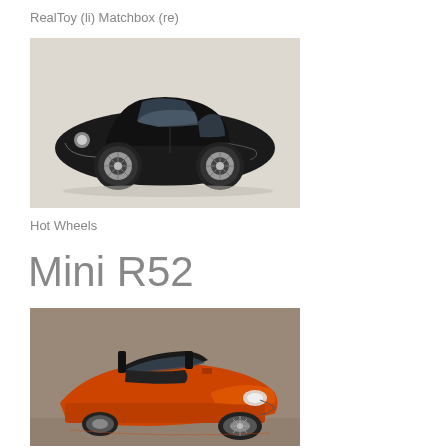RealToy (li) Matchbox (re)
[Figure (photo): A black Mini Cooper R50/R53 die-cast toy car model, side view showing silver alloy wheels, on a light background]
Hot Wheels
Mini R52
[Figure (photo): An orange Mini Cooper R52 convertible die-cast toy car model with black interior and roll bar visible, front three-quarter view on a reflective surface]